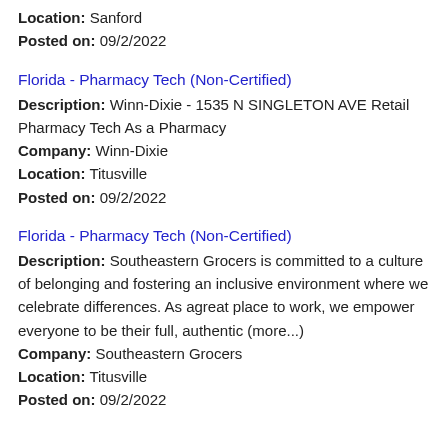Location: Sanford
Posted on: 09/2/2022
Florida - Pharmacy Tech (Non-Certified)
Description: Winn-Dixie - 1535 N SINGLETON AVE Retail Pharmacy Tech As a Pharmacy
Company: Winn-Dixie
Location: Titusville
Posted on: 09/2/2022
Florida - Pharmacy Tech (Non-Certified)
Description: Southeastern Grocers is committed to a culture of belonging and fostering an inclusive environment where we celebrate differences. As agreat place to work, we empower everyone to be their full, authentic (more...)
Company: Southeastern Grocers
Location: Titusville
Posted on: 09/2/2022